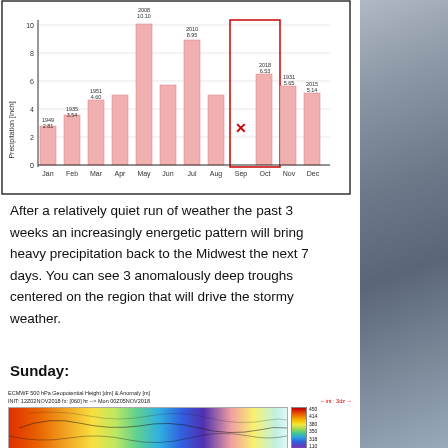[Figure (bar-chart): Monthly Precipitation]
After a relatively quiet run of weather the past 3 weeks an increasingly energetic pattern will bring heavy precipitation back to the Midwest the next 7 days. You can see 3 anomalously deep troughs centered on the region that will drive the stormy weather.
Sunday:
[Figure (map): ECMWF 500 hPa Geopotential Height [dm] & Anomaly [m] map. Init: 12Z02NOV2018 fx: [060] hr --> Mon 00Z05NOV2018. Shows geopotential height contours over North America with anomaly color fill. Color bar on right side ranging from approximately -459 to 110.]